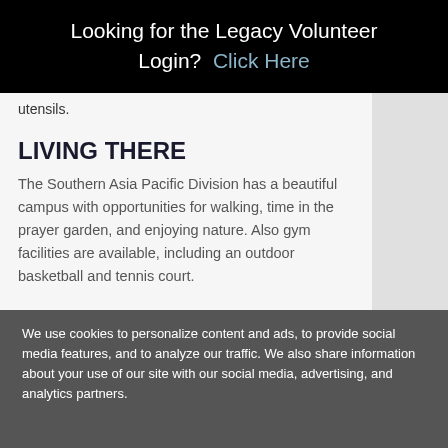Looking for the Legacy Volunteer Login?  Click Here
utensils.
LIVING THERE
The Southern Asia Pacific Division has a beautiful campus with opportunities for walking, time in the prayer garden, and enjoying nature. Also gym facilities are available, including an outdoor basketball and tennis court.
INCLUDED
Visa
Local Travel
We use cookies to personalize content and ads, to provide social media features, and to analyze our traffic. We also share information about your use of our site with our social media, advertising, and analytics partners.